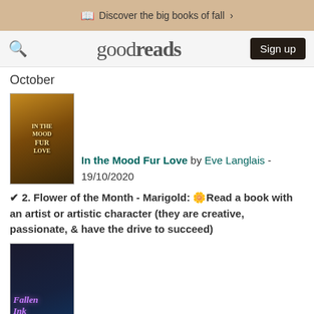Discover the big books of fall >
goodreads  Sign up
October
[Figure (photo): Book cover for 'In the Mood Fur Love']
In the Mood Fur Love by Eve Langlais - 19/10/2020
✔ 2. Flower of the Month - Marigold: 🌼 Read a book with an artist or artistic character (they are creative, passionate, & have the drive to succeed)
[Figure (photo): Book cover for 'Fallen Ink' by Carrie Ann Ryan]
Fallen Ink by Carrie Ann Ryan - 03/10/2020
✔ 3. Featured Author Challenge (FAC) - Meghan March: 🌸 Read a book with a lawyer in it